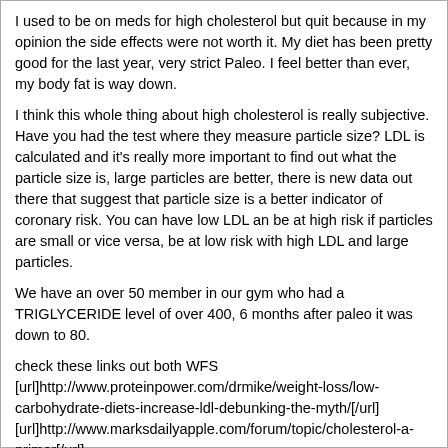I used to be on meds for high cholesterol but quit because in my opinion the side effects were not worth it. My diet has been pretty good for the last year, very strict Paleo. I feel better than ever, my body fat is way down.
I think this whole thing about high cholesterol is really subjective. Have you had the test where they measure particle size? LDL is calculated and it's really more important to find out what the particle size is, large particles are better, there is new data out there that suggest that particle size is a better indicator of coronary risk. You can have low LDL an be at high risk if particles are small or vice versa, be at low risk with high LDL and large particles.
We have an over 50 member in our gym who had a TRIGLYCERIDE level of over 400, 6 months after paleo it was down to 80.
check these links out both WFS
[url]http://www.proteinpower.com/drmike/weight-loss/low-carbohydrate-diets-increase-ldl-debunking-the-myth/[/url]
[url]http://www.marksdailyapple.com/forum/topic/cholesterol-a-primer[/url]
and listen to Robb's webcast episode 19
[url]http://************/2010/03/16/the-paleolithic-solution-episode-19/[/url][/QUOTE]
Hey Terry, yeah, I listen to Robb's podcasts pretty much every night. GREAT stuff. I think my triglycerides were as high as they were because I sort of fell off the wagon on booze a couple of times the week leading up to my test. I have been really good on Paleo, though!